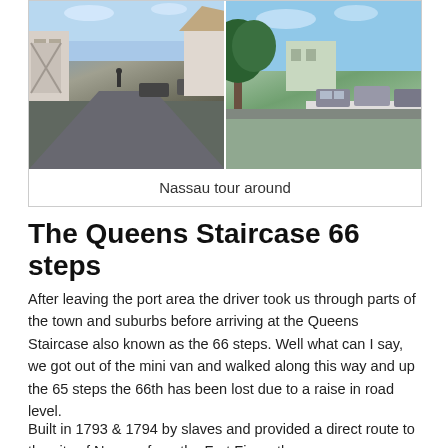[Figure (photo): Two street-level photos of Nassau: left shows a road through a residential/town area with houses and parked cars; right shows a suburban street with trees and a white wall with parked cars.]
Nassau tour around
The Queens Staircase 66 steps
After leaving the port area the driver took us through parts of the town and suburbs before arriving at the Queens Staircase also known as the 66 steps. Well what can I say, we got out of the mini van and walked along this way and up the 65 steps the 66th has been lost due to a raise in road level.
Built in 1793 & 1794 by slaves and provided a direct route to the city of Nassau from the Fort Fincastle